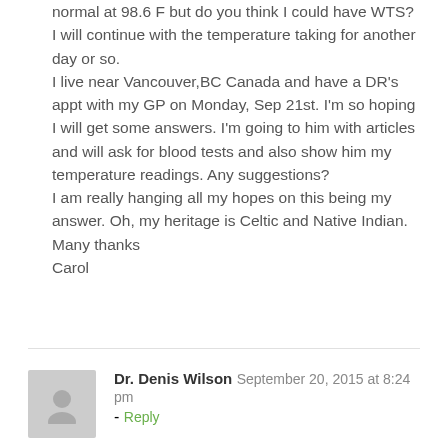normal at 98.6 F but do you think I could have WTS?
I will continue with the temperature taking for another day or so.
I live near Vancouver,BC Canada and have a DR's appt with my GP on Monday, Sep 21st. I'm so hoping I will get some answers. I'm going to him with articles and will ask for blood tests and also show him my temperature readings. Any suggestions?
I am really hanging all my hopes on this being my answer. Oh, my heritage is Celtic and Native Indian.
Many thanks
Carol
Dr. Denis Wilson  September 20, 2015 at 8:24 pm - Reply